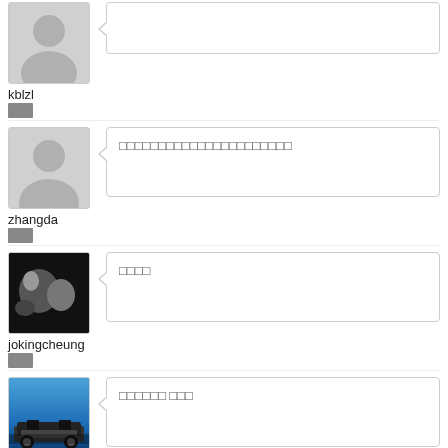kblzl
[Chinese characters]
[Chinese characters - message]
zhangda
[Chinese characters]
[Chinese characters - short message]
jokingcheung
[Chinese characters]
[Chinese characters - message]
ALLEN820213
[Chinese characters] male
[Chinese characters - message]
ken.sting
[Chinese characters]
[Chinese characters - message]